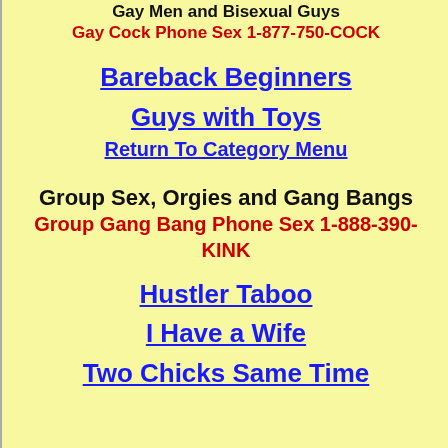Gay Men and Bisexual Guys
Gay Cock Phone Sex 1-877-750-COCK
Bareback Beginners
Guys with Toys
Return To Category Menu
Group Sex, Orgies and Gang Bangs
Group Gang Bang Phone Sex 1-888-390-KINK
Hustler Taboo
I Have a Wife
Two Chicks Same Time